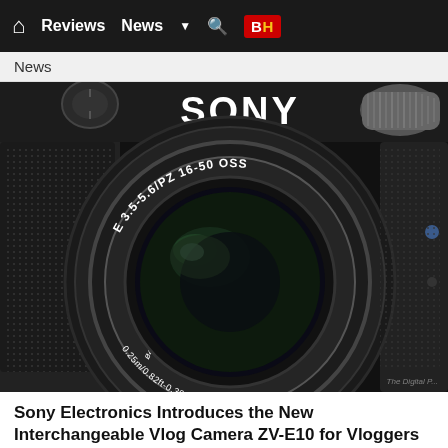🏠 Reviews  News  ▼  🔍  B&H
News
[Figure (photo): Close-up photo of a Sony ZV-E10 mirrorless camera showing the Sony alpha logo and E 3.5-5.6/PZ 16-50 OSS lens, with a fur microphone windscreen visible at top right. Lens markings show 0.25m/0.82ft-0.30m/0.98ft and ø40.5.]
Sony Electronics Introduces the New Interchangeable Vlog Camera ZV-E10 for Vloggers and Video Creator